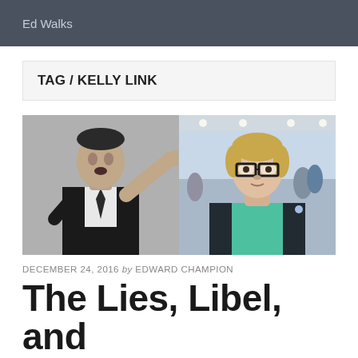Ed Walks
TAG / KELLY LINK
[Figure (photo): Two photos side by side: left is a black-and-white photo of a man in a suit pointing his finger; right is a color photo of a woman with short blonde hair and dark-rimmed glasses wearing a teal top at what appears to be a convention.]
DECEMBER 24, 2016 by EDWARD CHAMPION
The Lies, Libel, and